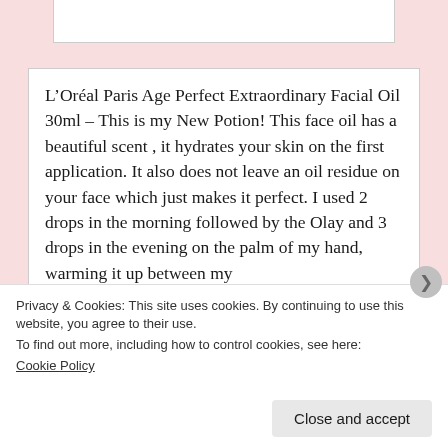L’Oréal Paris Age Perfect Extraordinary Facial Oil 30ml – This is my New Potion! This face oil has a beautiful scent , it hydrates your skin on the first application. It also does not leave an oil residue on your face which just makes it perfect. I used 2 drops in the morning followed by the Olay and 3 drops in the evening on the palm of my hand, warming it up between my
Privacy & Cookies: This site uses cookies. By continuing to use this website, you agree to their use.
To find out more, including how to control cookies, see here:
Cookie Policy
Close and accept